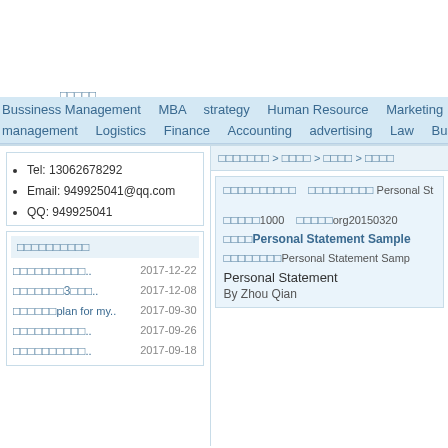Chinese navigation header with category links: Bussiness Management, MBA, strategy, Human Resource, Marketing, Hosp... management, Logistics, Finance, Accounting, advertising, Law, Business La...
Tel: 13062678292
Email: 949925041@qq.com
QQ: 949925041
Document list with dates: 2017-12-22, 2017-12-08, 2017-09-30, 2017-09-26, 2017-09-18
Breadcrumb navigation (Chinese) > Chinese > Chinese > Chinese
Chinese meta: Personal Statement Sample info, 1000 words, org20150320...
Personal Statement Sample
Chinese description Personal Statement Samp...
Personal Statement
By Zhou Qian